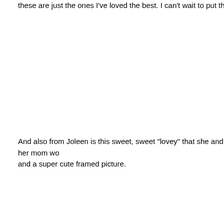these are just the ones I've loved the best. I can't wait to put the three of the
And also from Joleen is this sweet, sweet "lovey" that she and her mom wo and a super cute framed picture.